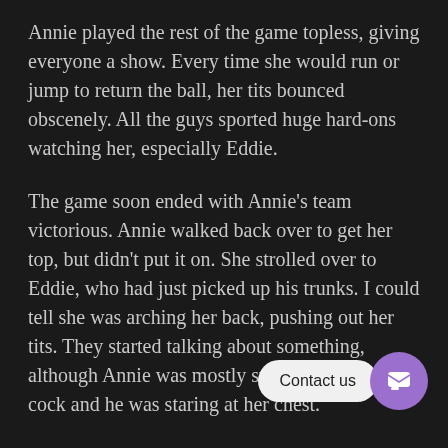Annie played the rest of the game topless, giving everyone a show. Every time she would run or jump to return the ball, her tits bounced obscenely. All the guys sported huge hard-ons watching her, especially Eddie.
The game soon ended with Annie's team victorious. Annie walked back over to get her top, but didn't put it on. She strolled over to Eddie, who had just picked up his trunks. I could tell she was arching her back, pushing out her tits. They started talking about something, although Annie was mostly staring at his huge cock and he was staring at her chest.
Eddie said something, then pushed his dick toward her. She giggled and shook her head, but didn't stop looking. Eddie stayed still, though, and aft... reached over and grasped her hand around his cock... held it for a second, then lightly bounced it and laughed.